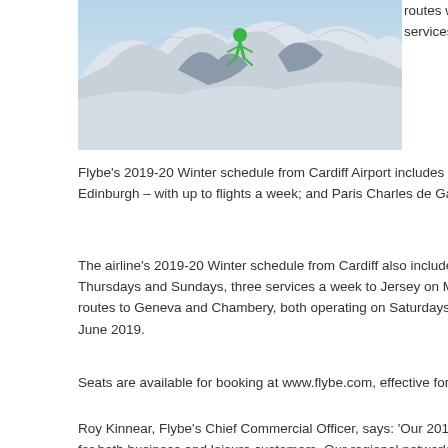[Figure (photo): A person in a green jacket skiing or snowboarding on a snowy mountain slope with rocky peaks in the background.]
routes with a choice of up to 120 flights a week, with extra services to some of its most popular destinations.
Flybe's 2019-20 Winter schedule from Cardiff Airport includes increased flights between Cardiff and Dublin, with up to 38 flights a week; Edinburgh – with up to flights a week; and Paris Charles de Gaulle – with up to 16 flights a week.
The airline's 2019-20 Winter schedule from Cardiff also includes daily service to Belfast City, three services a week to Cork on Tuesdays, Thursdays and Sundays, three services a week to Jersey on Mondays, Wednesdays and Fridays. The schedule further includes seasonal ski routes to Geneva and Chambery, both operating on Saturdays starting December 14, 2019. The Chambery service went on sale, beginning June 2019.
Seats are available for booking at www.flybe.com, effective for travel between October 27, 2019 and March 28, 2020.
Roy Kinnear, Flybe's Chief Commercial Officer, says: 'Our 2019/20 Winter schedule has been planned to provide reliable and affordable travel for both business and leisure customers. Our regional network offers lots of opportunity for making o...